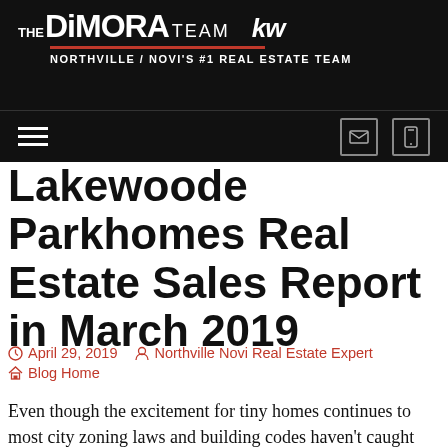THE DiMORA TEAM kw NORTHVILLE / NOVI'S #1 REAL ESTATE TEAM
Lakewoode Parkhomes Real Estate Sales Report in March 2019
April 29, 2019   Northville Novi Real Estate Expert   Blog Home
Even though the excitement for tiny homes continues to most city zoning laws and building codes haven't caught addressing the trend. The DiMora Team are real estate experts in